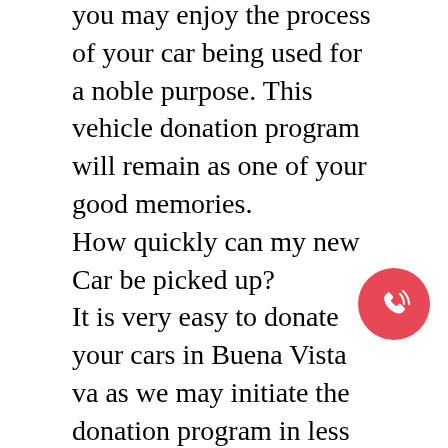you may enjoy the process of your car being used for a noble purpose. This vehicle donation program will remain as one of your good memories.
How quickly can my new Car be picked up?
It is very easy to donate your cars in Buena Vista va as we may initiate the donation program in less than 24 hours. We work around the clock, 24 hours a day, and 7 days a week. Dial our number and call us to schedule an appointment. Our phone number is – 8552718021. For online users, you can also drop us an email including your queries.
Can you pick up my used car, if it's not at my home?
[Figure (other): Pink/red circular phone call button icon with telephone and signal waves symbol]